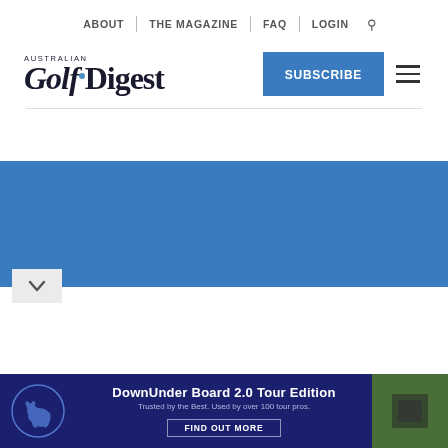ABOUT | THE MAGAZINE | FAQ | LOGIN
[Figure (logo): Australian Golf Digest logo with blue dot accent]
[Figure (other): SUBSCRIBE button and hamburger menu icon]
[Figure (photo): Blue image/photo area for article hero]
[Figure (infographic): DownUnder Board 2.0 Tour Edition advertisement banner with kangaroo logo]